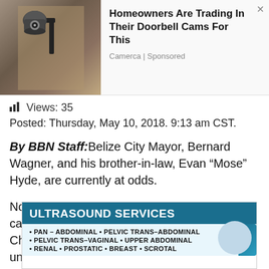[Figure (other): Advertisement banner showing a security camera on a wall with headline 'Homeowners Are Trading In Their Doorbell Cams For This' by Camerca, Sponsored]
Views: 35
Posted: Thursday, May 10, 2018. 9:13 am CST.
By BBN Staff: Belize City Mayor, Bernard Wagner, and his brother-in-law, Evan “Mose” Hyde, are currently at odds.
Not at personal odds, but in their professional capacities as Hyde is the President of the Christian Workers Union (CWU) and two of his union members were terminated by Wagner’s council this week.
[Figure (other): Advertisement for Ultrasound Services listing: PAN-ABDOMINAL, PELVIC TRANS-ABDOMINAL, PELVIC TRANS-VAGINAL, UPPER ABDOMINAL, RENAL, PROSTATIC, BREAST, SCROTAL]